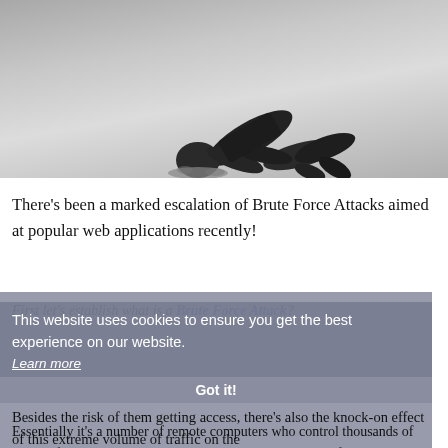[Figure (photo): Person in a business suit kneeling with head buried in the ground, on a grey surface, silhouette style image representing ostrich behavior or avoidance]
There's been a marked escalation of Brute Force Attacks aimed at popular web applications recently!
First let's establish what is a Brute Force Attack? Essentially it's a number of remote computers who control thousands of other infected computers that bombard your site with hits from thousands of IP addresses. Their target is the Administrator login area in an attempt to get access.
This website uses cookies to ensure you get the best experience on our website. Learn more
Got it!
Besides the risk of them getting access, there's also the knock-on effect of this extreme volume of traffic on the